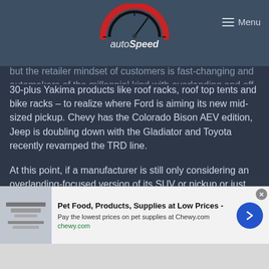autoSpeed — Menu
but the retailer mindset of customers is fast-changing and automakers of the millennial kind with overlanding and off-road activities take one look at the Ranger's options list – which includes 30-plus Yakima products like roof racks, roof top tents and bike racks – to realize where Ford is aiming its new mid-sized pickup. Chevy has the Colorado Bison AEV edition, Jeep is doubling down with the Gladiator and Toyota recently revamped the TRD line.
At this point, if a manufacturer is still only considering an overlanding-focused version of its SUV or pickup or just testing the waters with concepts like the Kia Telluride, they're only delaying the inevitable. If those marques wait any longer, they
[Figure (screenshot): Advertisement banner for Chewy.com: Pet Food, Products, Supplies at Low Prices. Pay the lowest prices on pet supplies at Chewy.com. chewy.com URL shown in green.]